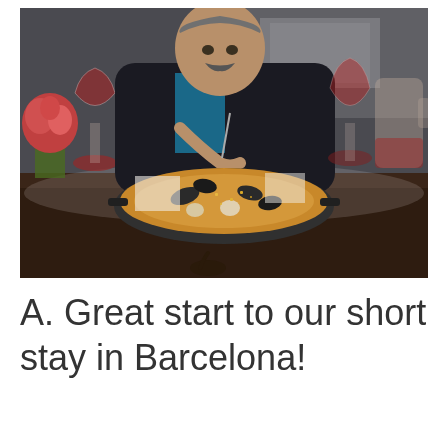[Figure (photo): A man with a mustache wearing a black jacket over a teal shirt sits at a restaurant table eating paella from a large pan. On the table are red wine glasses, a sangria pitcher, flowers in a vase, and cutlery. The restaurant setting is visible in the background.]
A. Great start to our short stay in Barcelona!